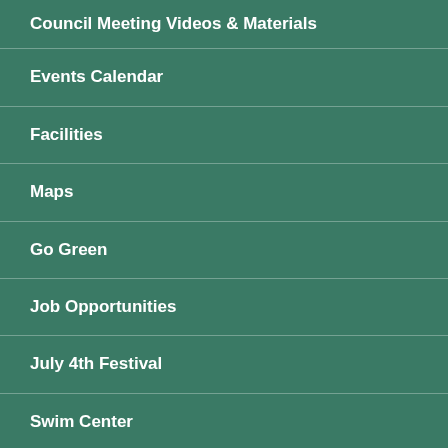Council Meeting Videos & Materials
Events Calendar
Facilities
Maps
Go Green
Job Opportunities
July 4th Festival
Swim Center
Municipal Code
Community Voice